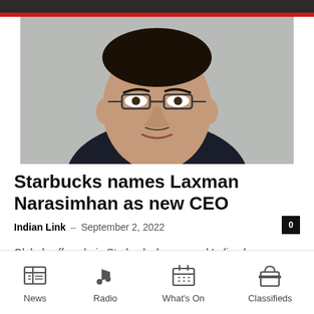[Figure (photo): Headshot of Laxman Narasimhan, Indian-born man with glasses, wearing a dark suit, against a grey background]
Starbucks names Laxman Narasimhan as new CEO
Indian Link – September 2, 2022
Global coffee chain Starbucks has named Indian-born Laxman Narasimhan its next CEO. Narasimhan, who currently heads health and hygiene company Reckitt, will join Starbucks in…